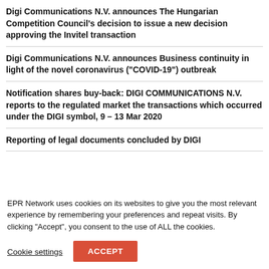Digi Communications N.V. announces The Hungarian Competition Council’s decision to issue a new decision approving the Invitel transaction
Digi Communications N.V. announces Business continuity in light of the novel coronavirus (“COVID-19”) outbreak
Notification shares buy-back: DIGI COMMUNICATIONS N.V. reports to the regulated market the transactions which occurred under the DIGI symbol, 9 – 13 Mar 2020
Reporting of legal documents concluded by DIGI
EPR Network uses cookies on its websites to give you the most relevant experience by remembering your preferences and repeat visits. By clicking “Accept”, you consent to the use of ALL the cookies.
Cookie settings
ACCEPT